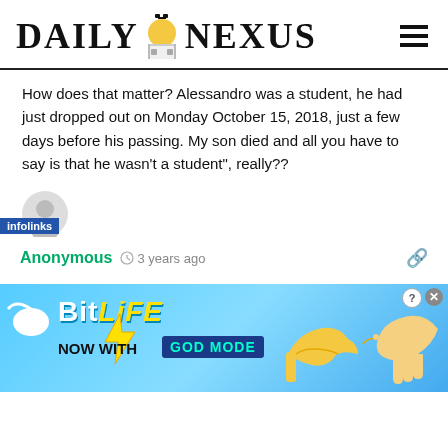DAILY NEXUS
How does that matter? Alessandro was a student, he had just dropped out on Monday October 15, 2018, just a few days before his passing. My son died and all you have to say is that he wasn't a student", really??
[Figure (illustration): Anonymous user avatar - grey circle with person silhouette]
Anonymous  3 years ago
Dios los bendiga por sus hermosas palabras. Sibretodo porque Alessandro esta ausente y ustedes con sus dos hacen sentir la importancia de su existencia en
[Figure (screenshot): BitLife advertisement banner - NOW WITH GOD MODE, blue background with cartoon hand pointing]